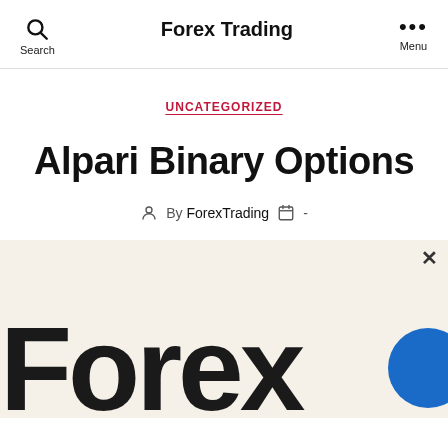Forex Trading
UNCATEGORIZED
Alpari Binary Options
By ForexTrading -
[Figure (logo): Forex brand logo — large bold 'Forex' text in dark/black on a cream background, with a partial blue circle on the right side]